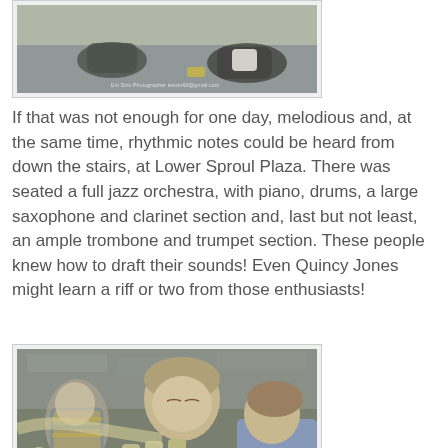[Figure (photo): Photo of people outdoors from above, with a watermark reading 'Em Sins Photographer' and an email address]
If that was not enough for one day, melodious and, at the same time, rhythmic notes could be heard from down the stairs, at Lower Sproul Plaza. There was seated a full jazz orchestra, with piano, drums, a large saxophone and clarinet section and, last but not least, an ample trombone and trumpet section. These people knew how to draft their sounds! Even Quincy Jones might learn a riff or two from those enthusiasts!
[Figure (photo): Close-up photo of musicians playing trumpets, showing hands on valves and the shiny brass instruments, with a watermark at the bottom]